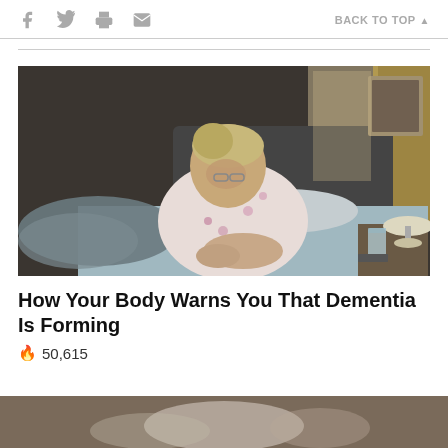f  [twitter]  [print]  [email]   BACK TO TOP ▲
[Figure (photo): Elderly woman in floral robe sitting on bed, head bowed, in a dimly lit bedroom with a lamp and glass of water on the nightstand]
How Your Body Warns You That Dementia Is Forming
🔥 50,615
[Figure (photo): Partial view of second article image at the bottom of the page]